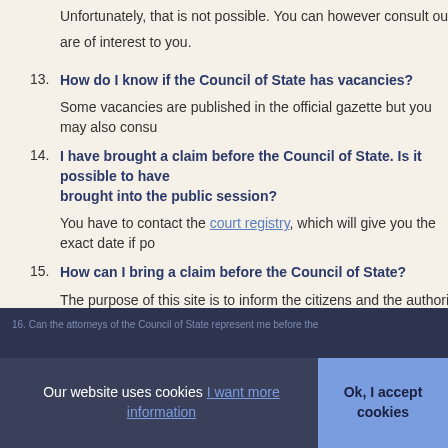Unfortunately, that is not possible. You can however consult our website 24 hours a day for topics that are of interest to you.
13. How do I know if the Council of State has vacancies?
Some vacancies are published in the official gazette but you may also consult...
14. I have brought a claim before the Council of State. Is it possible to have it brought into the public session?
You have to contact the court registry, which will give you the exact date if po...
15. How can I bring a claim before the Council of State?
The purpose of this site is to inform the citizens and the authorities of the juri... questions concerning concrete claims or procedures can not be asked by e-... addressed to lawyers, law centers, legal aid organizations, social services, e...
Our website uses cookies I want more information
Ok, I accept cookies